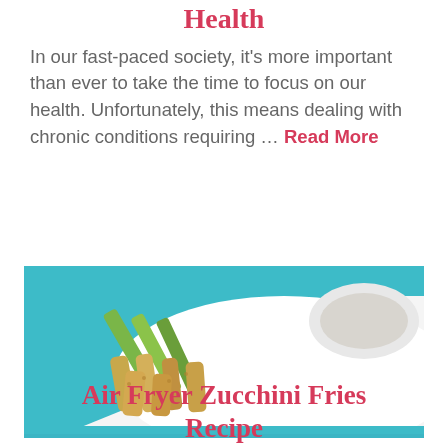Health
In our fast-paced society, it's more important than ever to take the time to focus on our health. Unfortunately, this means dealing with chronic conditions requiring … Read More
[Figure (photo): Breaded zucchini fries on a white plate with a dipping sauce, set on a teal/turquoise surface]
Air Fryer Zucchini Fries Recipe